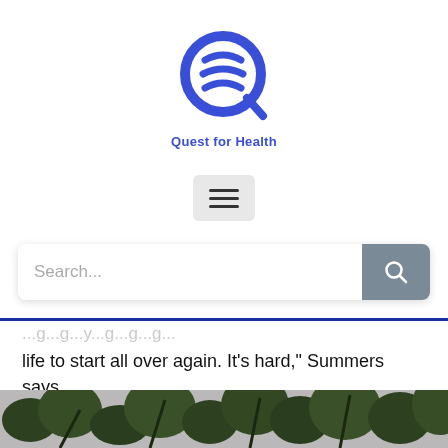[Figure (logo): Quest for Health logo — a stylized blue Q letter with swoosh lines, and text 'Quest for Health' below in blue]
[Figure (other): Hamburger menu button with three horizontal lines on a light gray rounded rectangle background]
[Figure (other): Search bar with placeholder text 'Search...' and a gray search button with magnifying glass icon on the right]
life to start all over again. It’s hard,” Summers says.
Even families that were on firmer economic footing have seen their finances upended. And because of that, their whole lives can be upended, too.
[Figure (photo): Bottom strip of a photo showing green leafy plants/branches in the foreground with a brick building visible in the background]